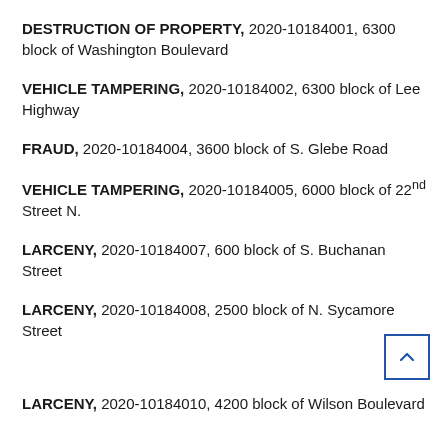DESTRUCTION OF PROPERTY, 2020-10184001, 6300 block of Washington Boulevard
VEHICLE TAMPERING, 2020-10184002, 6300 block of Lee Highway
FRAUD, 2020-10184004, 3600 block of S. Glebe Road
VEHICLE TAMPERING, 2020-10184005, 6000 block of 22nd Street N.
LARCENY, 2020-10184007, 600 block of S. Buchanan Street
LARCENY, 2020-10184008, 2500 block of N. Sycamore Street
LARCENY, 2020-10184010, 4200 block of Wilson Boulevard